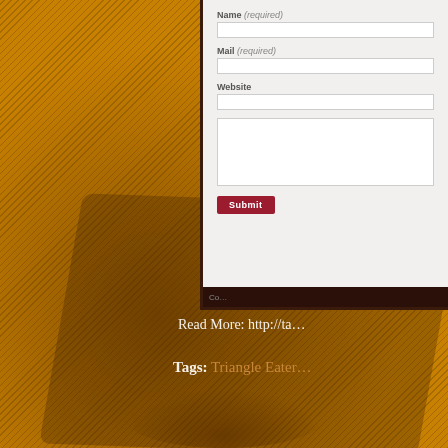[Figure (screenshot): Orange textured background with diagonal line pattern, shadowed objects silhouette in lower portion, and a partially visible web form panel in the upper right corner with fields for Name (required), Mail (required), Website, a textarea, and a Submit button.]
Read More: http://ta...
Tags: Triangle Eater...